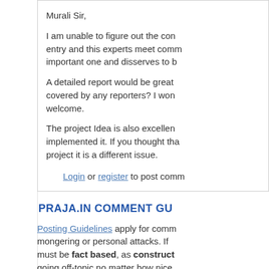Murali Sir,

I am unable to figure out the con entry and this experts meet comm important one and disserves to b

A detailed report would be great covered by any reporters? I won welcome.

The project Idea is also excellen implemented it. If you thought tha project it is a different issue.
Login or register to post comm
PRAJA.IN COMMENT GU
Posting Guidelines apply for comm mongering or personal attacks. If must be fact based, as construct going off-topic no matter how nice right to either edit or simply delete If you are nice enough to realize y Moderators some time by editing a